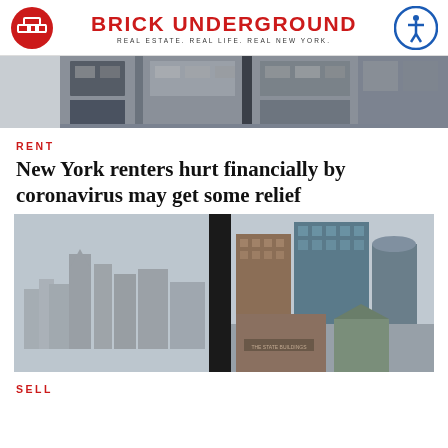BRICK UNDERGROUND
REAL ESTATE. REAL LIFE. REAL NEW YORK.
[Figure (photo): Close-up of building facade with windows, partial architectural detail]
RENT
New York renters hurt financially by coronavirus may get some relief
[Figure (photo): View of New York City skyline with tall skyscrapers seen through a window with a dark divider frame]
SELL